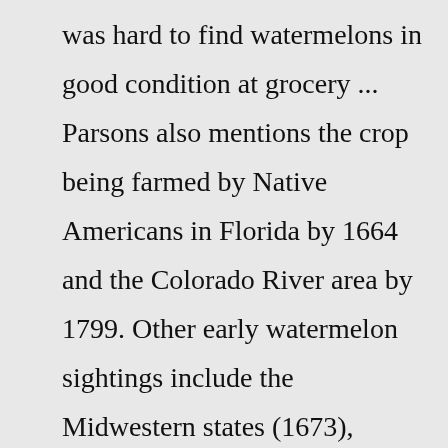was hard to find watermelons in good condition at grocery ... Parsons also mentions the crop being farmed by Native Americans in Florida by 1664 and the Colorado River area by 1799. Other early watermelon sightings include the Midwestern states (1673), Connecticut (1747), and the Illiana region (1822) (Parsons 2002). Until the 1940s, however, it was hard to find watermelons in good